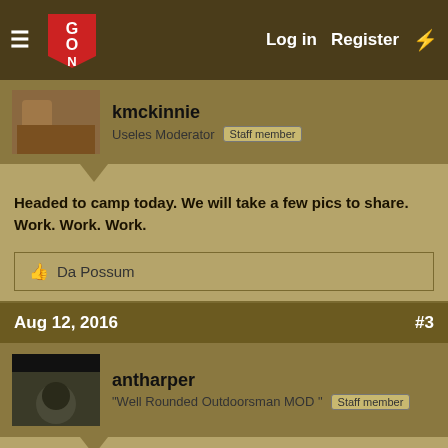GON — Log in   Register
kmckinnie
Useles Moderator   Staff member
Headed to camp today. We will take a few pics to share. Work. Work. Work.
👍 Da Possum
Aug 12, 2016   #3
antharper
"Well Rounded Outdoorsman MOD "   Staff member
kmckinnie said: ↗
Headed to camp today. We will take a few pics to share. Work. Work. Work.
Thanks for sharing , please have BKW in photos and not u , don't work to